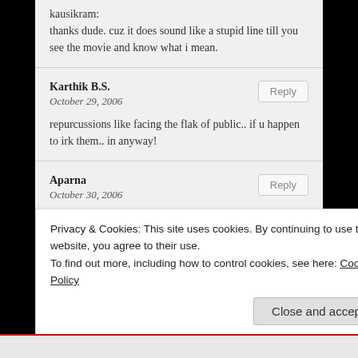kausikram:
thanks dude. cuz it does sound like a stupid line till you see the movie and know what i mean.
Karthik B.S.
October 29, 2006
repurcussions like facing the flak of public.. if u happen to irk them.. in anyway!
Aparna
October 30, 2006
Inspired by one of the dialogues from the movie itself… when DON says…
Privacy & Cookies: This site uses cookies. By continuing to use this website, you agree to their use.
To find out more, including how to control cookies, see here: Cookie Policy
Close and accept